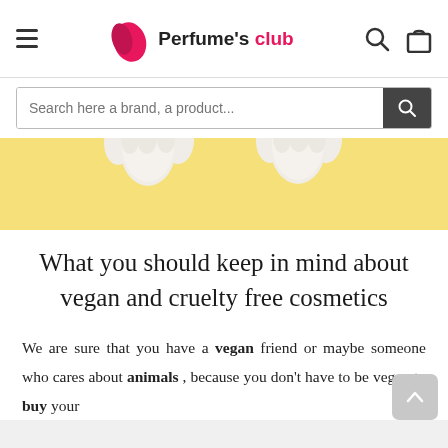Perfume's club
Search here a brand, a product...
[Figure (photo): Yellow background with white fluffy animal paws visible from top]
What you should keep in mind about vegan and cruelty free cosmetics
We are sure that you have a vegan friend or maybe someone who cares about animals , because you don't have to be vegan to buy your